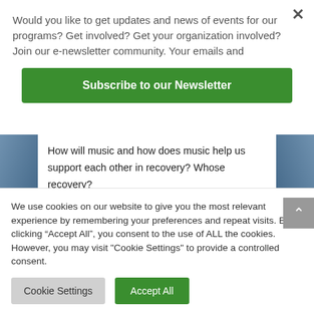Would you like to get updates and news of events for our programs? Get involved? Get your organization involved? Join our e-newsletter community. Your emails and
[Figure (other): Green 'Subscribe to our Newsletter' button]
How will music and how does music help us support each other in recovery? Whose recovery?
We use cookies on our website to give you the most relevant experience by remembering your preferences and repeat visits. By clicking “Accept All”, you consent to the use of ALL the cookies. However, you may visit "Cookie Settings" to provide a controlled consent.
[Figure (other): Cookie Settings and Accept All buttons]